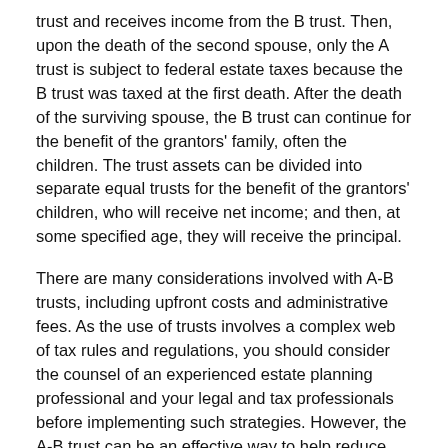trust and receives income from the B trust. Then, upon the death of the second spouse, only the A trust is subject to federal estate taxes because the B trust was taxed at the first death. After the death of the surviving spouse, the B trust can continue for the benefit of the grantors' family, often the children. The trust assets can be divided into separate equal trusts for the benefit of the grantors' children, who will receive net income; and then, at some specified age, they will receive the principal.
There are many considerations involved with A-B trusts, including upfront costs and administrative fees. As the use of trusts involves a complex web of tax rules and regulations, you should consider the counsel of an experienced estate planning professional and your legal and tax professionals before implementing such strategies. However, the A-B trust can be an effective way to help reduce estate taxes and preserve family assets.
Sources: Forbes, January 15, 2021; State of Hawaii Department of Taxation; Comptroller of Maryland